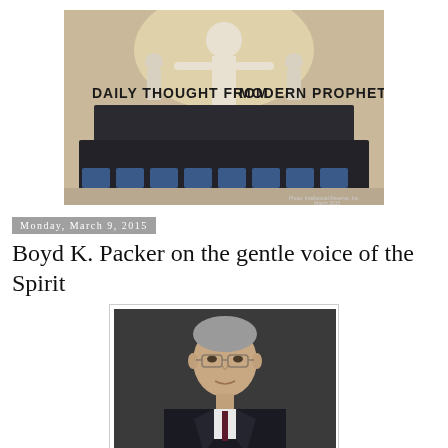[Figure (photo): Group photo of LDS church leaders in formal attire seated and standing in front of a Christus statue. Text overlay reads 'DAILY THOUGHT FROM MODERN PROPHETS'.]
Monday, March 9, 2015
Boyd K. Packer on the gentle voice of the Spirit
[Figure (photo): Portrait photo of Boyd K. Packer, an older man with gray hair wearing glasses and a dark suit.]